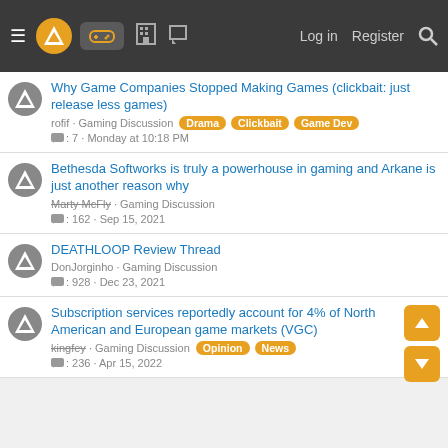Navigation bar with logo, controller icon, forum icons, Log in, Register, Search
Why Game Companies Stopped Making Games (clickbait: just release less games) — rofif · Gaming Discussion [Drama] [Clickbait] [Game Dev] — 7 replies · Monday at 10:18 PM
Bethesda Softworks is truly a powerhouse in gaming and Arkane is just another reason why — Marty McFly · Gaming Discussion — 162 replies · Sep 15, 2021
DEATHLOOP Review Thread — DonJorginho · Gaming Discussion — 928 replies · Dec 23, 2021
Subscription services reportedly account for 4% of North American and European game markets (VGC) — kingfey · Gaming Discussion [Opinion] [News] — 236 replies · Apr 15, 2022